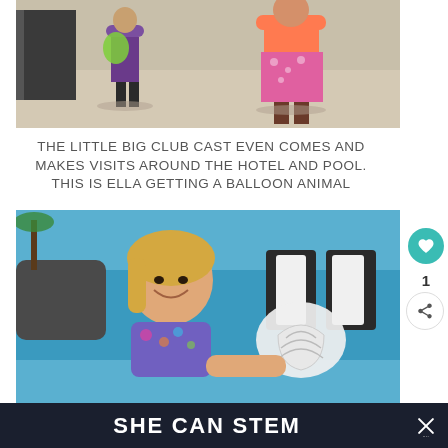[Figure (photo): Photo of two girls standing outdoors near a pool or hotel area. One girl wears a purple top and holds a green bag; the other wears a neon pink/coral top and a floral skirt.]
THE LITTLE BIG CLUB CAST EVEN COMES AND MAKES VISITS AROUND THE HOTEL AND POOL. THIS IS ELLA GETTING A BALLOON ANIMAL
[Figure (photo): Photo of a smiling young girl with blonde hair at a poolside/beach resort area, holding what appears to be a white balloon animal. Blue water and lounge chairs visible in the background.]
SHE CAN STEM